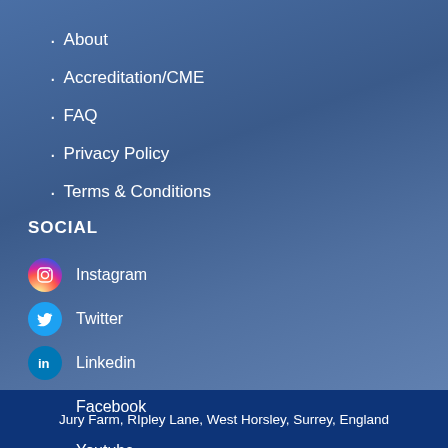About
Accreditation/CME
FAQ
Privacy Policy
Terms & Conditions
SOCIAL
Instagram
Twitter
Linkedin
Facebook
Youtube
Jury Farm, RIpley Lane, West Horsley, Surrey, England